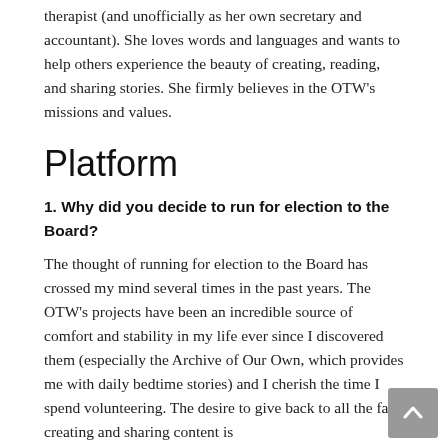therapist (and unofficially as her own secretary and accountant). She loves words and languages and wants to help others experience the beauty of creating, reading, and sharing stories. She firmly believes in the OTW's missions and values.
Platform
1. Why did you decide to run for election to the Board?
The thought of running for election to the Board has crossed my mind several times in the past years. The OTW's projects have been an incredible source of comfort and stability in my life ever since I discovered them (especially the Archive of Our Own, which provides me with daily bedtime stories) and I cherish the time I spend volunteering. The desire to give back to all the fans creating and sharing content is